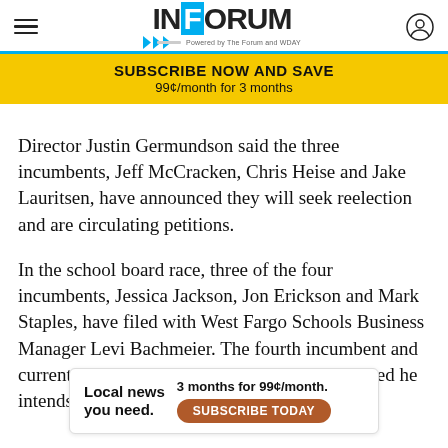INFORUM - Powered by The Forum and WDAY
SUBSCRIBE NOW AND SAVE
99¢/month for 3 months
Director Justin Germundson said the three incumbents, Jeff McCracken, Chris Heise and Jake Lauritsen, have announced they will seek reelection and are circulating petitions.
In the school board race, three of the four incumbents, Jessica Jackson, Jon Erickson and Mark Staples, have filed with West Fargo Schools Business Manager Levi Bachmeier. The fourth incumbent and current Board President Jim Jonas has announced he intends to run but has not officia...
[Figure (other): Advertisement banner: Local news you need. 3 months for 99¢/month. SUBSCRIBE TODAY button.]